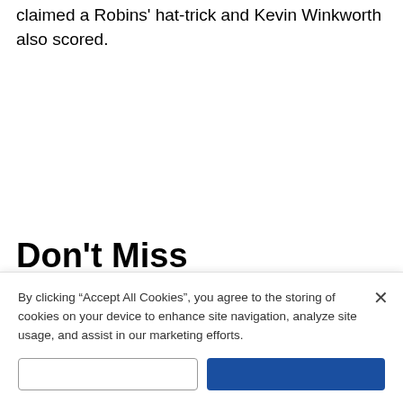claimed a Robins' hat-trick and Kevin Winkworth also scored.
Don't Miss
[Figure (photo): Partial image strip showing outdoor greenery/landscape, partially visible at bottom of content area]
By clicking “Accept All Cookies”, you agree to the storing of cookies on your device to enhance site navigation, analyze site usage, and assist in our marketing efforts.